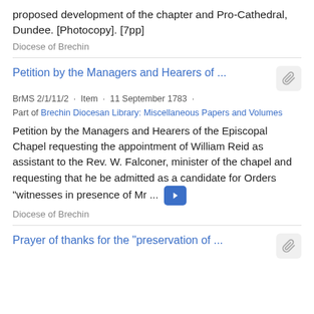proposed development of the chapter and Pro-Cathedral, Dundee. [Photocopy]. [7pp]
Diocese of Brechin
Petition by the Managers and Hearers of ...
BrMS 2/1/11/2 · Item · 11 September 1783 ·
Part of Brechin Diocesan Library: Miscellaneous Papers and Volumes
Petition by the Managers and Hearers of the Episcopal Chapel requesting the appointment of William Reid as assistant to the Rev. W. Falconer, minister of the chapel and requesting that he be admitted as a candidate for Orders "witnesses in presence of Mr ...
Diocese of Brechin
Prayer of thanks for the "preservation of ...